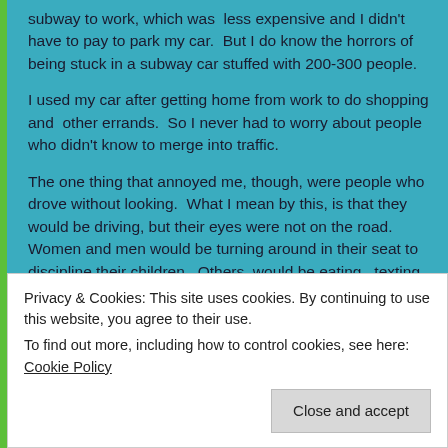subway to work, which was less expensive and I didn't have to pay to park my car. But I do know the horrors of being stuck in a subway car stuffed with 200-300 people.
I used my car after getting home from work to do shopping and other errands. So I never had to worry about people who didn't know to merge into traffic.
The one thing that annoyed me, though, were people who drove without looking. What I mean by this, is that they would be driving, but their eyes were not on the road. Women and men would be turning around in their seat to discipline their children. Others would be eating, texting, putting on their make-up (women), or some would actually be shaving (men) while driving. I always worried all these people were going to cause an accident and I did not want to be involved in one. I made sure that I kept my eyes on them and the
Privacy & Cookies: This site uses cookies. By continuing to use this website, you agree to their use.
To find out more, including how to control cookies, see here: Cookie Policy